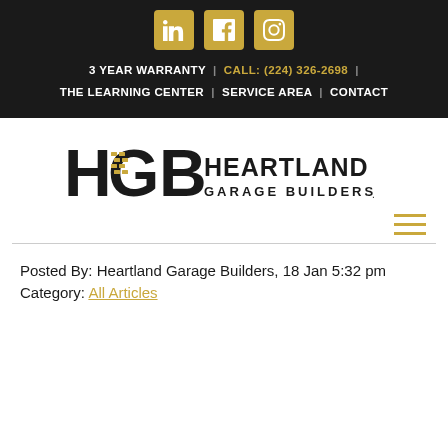[Figure (logo): Social media icons: LinkedIn, Facebook, Instagram in gold squares]
3 YEAR WARRANTY | CALL: (224) 326-2698 | THE LEARNING CENTER | SERVICE AREA | CONTACT
[Figure (logo): HGB Heartland Garage Builders logo]
Posted By: Heartland Garage Builders, 18 Jan 5:32 pm
Category: All Articles